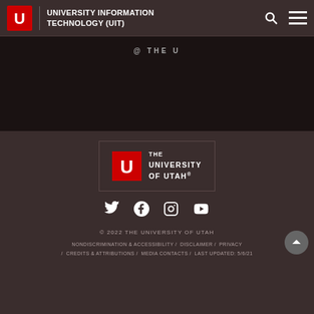UNIVERSITY INFORMATION TECHNOLOGY (UIT)
@ THE U
[Figure (logo): The University of Utah logo with red block U and university name]
[Figure (infographic): Social media icons: Twitter, Facebook, Instagram, YouTube]
© 2022 THE UNIVERSITY OF UTAH
NONDISCRIMINATION & ACCESSIBILITY / DISCLAIMER / PRIVACY / CREDITS & ATTRIBUTIONS / MEDIA CONTACTS / LAST UPDATED: 5/6/21